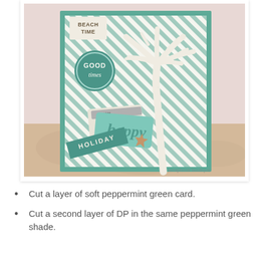[Figure (photo): A handmade greeting card with teal/mint peppermint green diagonal striped background paper, featuring a white die-cut palm tree, a circular 'GOOD times' embellishment, a 'BEACH TIME' tag, a 'happy' label, a 'HOLIDAY' banner tag with a starfish charm, all on a sandy surface with a pink background.]
Cut a layer of soft peppermint green card.
Cut a second layer of DP in the same peppermint green shade.